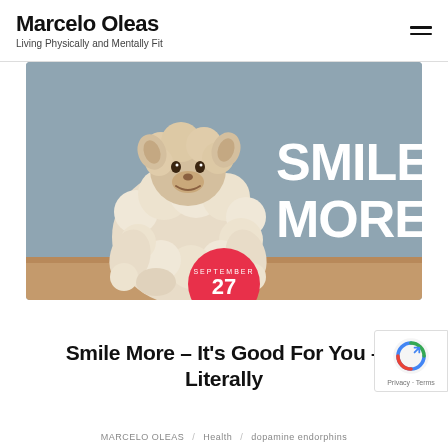Marcelo Oleas
Living Physically and Mentally Fit
[Figure (photo): A smiling stuffed sheep/lamb toy sitting on a wooden shelf against a gray wall with bold white text 'SMILE MORE' on the right side. A red circular date badge overlaps the bottom center showing SEPTEMBER 27 2018.]
Smile More – It's Good For You – Literally
MARCELO OLEAS / Health / dopamine endorphins